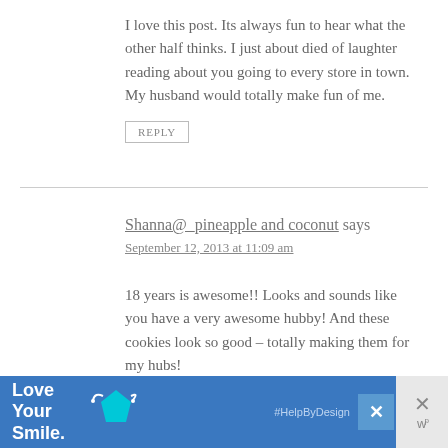I love this post. Its always fun to hear what the other half thinks. I just about died of laughter reading about you going to every store in town. My husband would totally make fun of me.
REPLY
Shanna@_pineapple and coconut says
September 12, 2013 at 11:09 am
18 years is awesome!! Looks and sounds like you have a very awesome hubby! And these cookies look so good – totally making them for my hubs!
REPLY
[Figure (infographic): Blue advertisement banner reading 'Love Your Smile.' with a teal pentagon/gem icon and '#HelpByDesign' hashtag, with close and dismiss buttons]